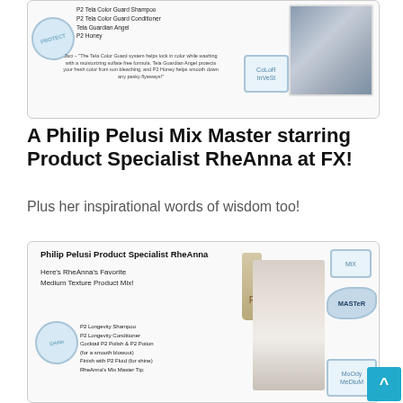[Figure (photo): Top promotional card showing Philip Pelusi Tela Color Guard products with handwritten-style text listing P2 Tela Color Guard Shampoo, P2 Tela Color Guard Conditioner, Tela Guardian Angel, P2 Honey, a quote from Jaci, a photo of a woman, and a 'Color Invest' badge]
A Philip Pelusi Mix Master starring Product Specialist RheAnna at FX!
Plus her inspirational words of wisdom too!
[Figure (photo): Bottom promotional card for Philip Pelusi Product Specialist RheAnna featuring Medium Texture Product Mix with handwritten text, product bottles, photo of RheAnna, and Mix/Master/Moody Medium badges. Products listed: P2 Longevity Shampoo, P2 Longevity Conditioner, Cocktail P2 Polish & P2 Potion (for a smooth blowout), Finish with P2 Fluid (for shine), RheAnna's Mix Master Tip: with a Shine stamp]